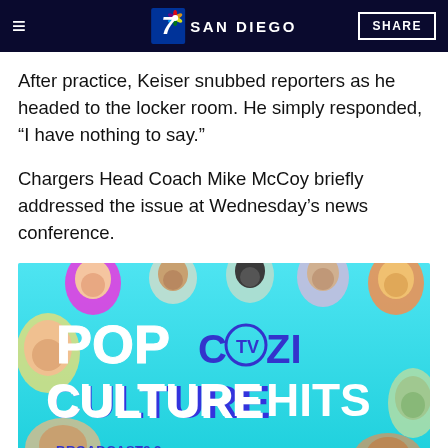7 SAN DIEGO | SHARE
After practice, Keiser snubbed reporters as he headed to the locker room. He simply responded, “I have nothing to say.”
Chargers Head Coach Mike McCoy briefly addressed the issue at Wednesday’s news conference.
[Figure (illustration): COZI TV advertisement: colorful teal/blue background with floating heads of TV characters, text reading POP COZI TV CULTURE HITS, BROADCAST 39.2, SPECTRUM 1245, COZITV.COM]